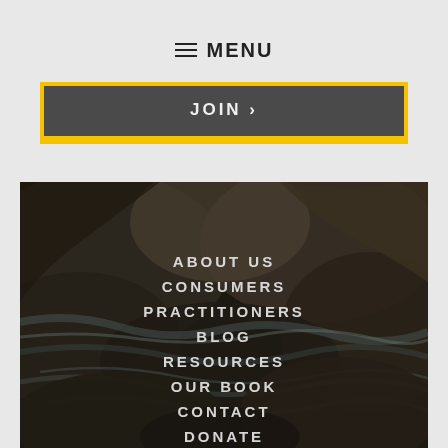MENU
JOIN >
[Figure (photo): Rocky river or water stream with dark boulders and flowing water, used as background for navigation menu]
ABOUT US
CONSUMERS
PRACTITIONERS
BLOG
RESOURCES
OUR BOOK
CONTACT
DONATE